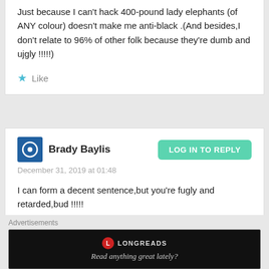Just because I can't hack 400-pound lady elephants (of ANY colour) doesn't make me anti-black .(And besides,I don't relate to 96% of other folk because they're dumb and ujgly !!!!!)
Like
Brady Baylis
December 31, 2019 at 01:48
LOG IN TO REPLY
I can form a decent sentence,but you're fugly and retarded,bud !!!!!
Like
Advertisements
[Figure (logo): Longreads advertisement banner with logo and tagline 'Read anything great lately?']